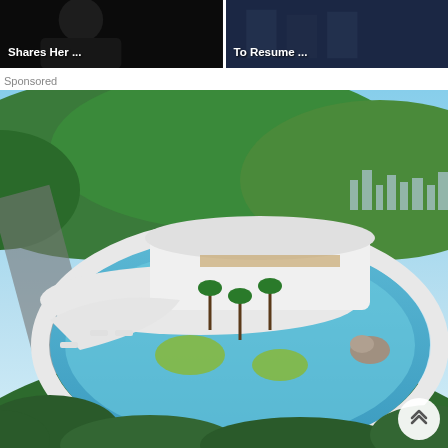[Figure (photo): Thumbnail image of a person, dark background, with overlaid title text 'Shares Her ...']
[Figure (photo): Thumbnail image of people in suits, dark blue background, with overlaid title text 'To Resume ...']
Sponsored
[Figure (photo): Aerial rendering of a luxury mansion with a large oval infinity pool surrounded by tropical greenery, with a city skyline visible in the background. A circular scroll-to-top button is overlaid at the bottom right.]